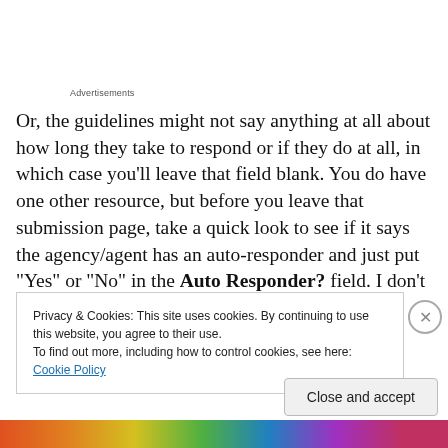Advertisements
Or, the guidelines might not say anything at all about how long they take to respond or if they do at all, in which case you'll leave that field blank. You do have one other resource, but before you leave that submission page, take a quick look to see if it says the agency/agent has an auto-responder and just put “Yes” or “No” in the Auto Responder? field. I don’t spend actual time researching
Privacy & Cookies: This site uses cookies. By continuing to use this website, you agree to their use.
To find out more, including how to control cookies, see here: Cookie Policy
Close and accept